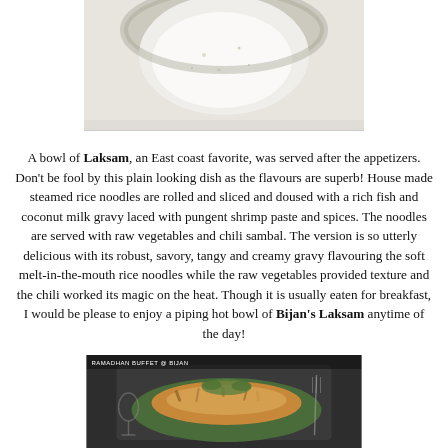[Figure (photo): Top portion of a bowl of Laksam with white coconut milk gravy, partially visible]
A bowl of Laksam, an East coast favorite, was served after the appetizers. Don't be fool by this plain looking dish as the flavours are superb! House made steamed rice noodles are rolled and sliced and doused with a rich fish and coconut milk gravy laced with pungent shrimp paste and spices. The noodles are served with raw vegetables and chili sambal. The version is so utterly delicious with its robust, savory, tangy and creamy gravy flavouring the soft melt-in-the-mouth rice noodles while the raw vegetables provided texture and the chili worked its magic on the heat. Though it is usually eaten for breakfast, I would be please to enjoy a piping hot bowl of Bijan's Laksam anytime of the day!
[Figure (photo): A plate of food at Ramadhan Buffet @ Bijan, showing a dish served on a banana leaf with garnishes, on a dark table with cutlery]